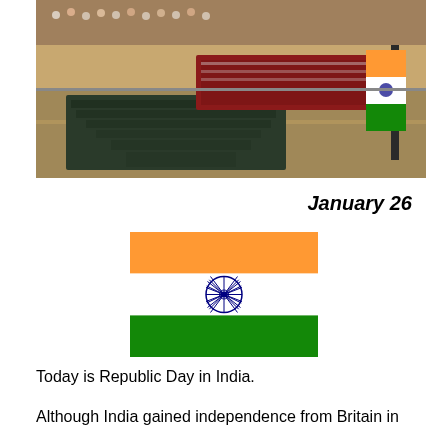[Figure (photo): Military parade with marching soldiers in formation on a wide road, with band members in red uniforms in the background and an Indian flag visible on the right side.]
January 26
[Figure (illustration): Indian national flag with three horizontal stripes: saffron/orange on top, white in the middle with navy blue Ashoka Chakra (wheel with 24 spokes) in the center, and green on the bottom.]
Today is Republic Day in India.
Although India gained independence from Britain in